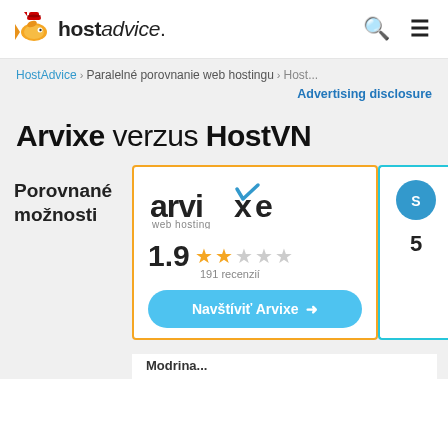hostadvice.
HostAdvice > Paralelné porovnanie web hostingu > Host...
Advertising disclosure
Arvixe verzus HostVN
Porovnané možnosti
[Figure (logo): Arvixe web hosting logo with checkmark]
1.9  191 recenzií
Navštíviť Arvixe →